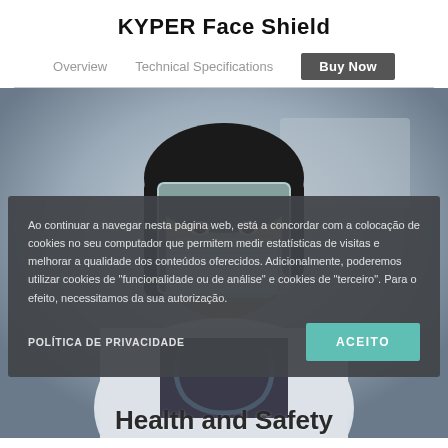KYPER Face Shield
Overview | Technical Specifications | Buy Now
[Figure (photo): A healthcare worker wearing a face shield and surgical mask with a stethoscope around their neck]
Ao continuar a navegar nesta página web, está a concordar com a colocação de cookies no seu computador que permitem medir estatísticas de visitas e melhorar a qualidade dos conteúdos oferecidos. Adicionalmente, poderemos utilizar cookies de "funcionalidade ou de análise" e cookies de "terceiro". Para o efeito, necessitamos da sua autorização.
POLÍTICA DE PRIVACIDADE
ACEITO
Health and Safety